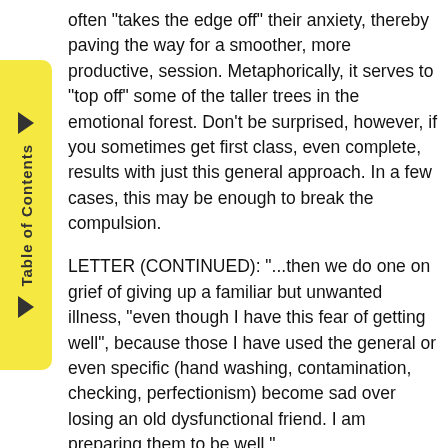often "takes the edge off" their anxiety, thereby paving the way for a smoother, more productive, session. Metaphorically, it serves to "top off" some of the taller trees in the emotional forest. Don't be surprised, however, if you sometimes get first class, even complete, results with just this general approach. In a few cases, this may be enough to break the compulsion.
LETTER (CONTINUED): "...then we do one on grief of giving up a familiar but unwanted illness, "even though I have this fear of getting well", because those I have used the general or even specific (hand washing, contamination, checking, perfectionism) become sad over losing an old dysfunctional friend. I am preparing them to be well."
GC COMMENT: Bravo! Many "tapping practitioners" avoid your thorough approach because they have become misled by the rapid relief people often receive